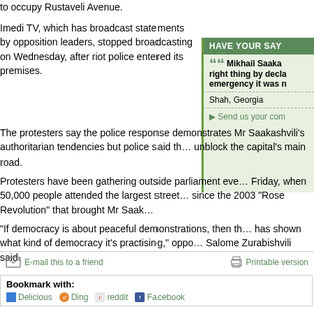to occupy Rustaveli Avenue.
Imedi TV, which has broadcast statements by opposition leaders, stopped broadcasting on Wednesday, after riot police entered its premises.
The protesters say the police response demonstrates Mr Saakashvili's authoritarian tendencies but police said th... unblock the capital's main road.
HAVE YOUR SAY
Mikhail Saaka... right thing by decla... emergency it was n...
Shah, Georgia
Send us your com...
Protesters have been gathering outside parliament eve... Friday, when 50,000 people attended the largest street... since the 2003 "Rose Revolution" that brought Mr Saak...
"If democracy is about peaceful demonstrations, then th... has shown what kind of democracy it's practising," oppo... Salome Zurabishvili said.
The protesters accuse Mr Saakashvili of corruption and... enough to tackle poverty.
They are calling for his resignation and a fresh election.
E-mail this to a friend
Printable version
Bookmark with:
Delicious
Ding
reddit
Facebook